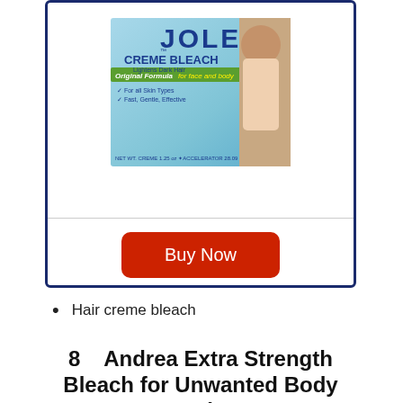[Figure (photo): Jolen Creme Bleach product box showing a woman with the text 'CREME BLEACH Lightens Dark Hair, Original Formula for face and body, For all Skin Types, Fast, Gentle, Effective']
Buy Now
Hair creme bleach
8    Andrea Extra Strength Bleach for Unwanted Body Hair